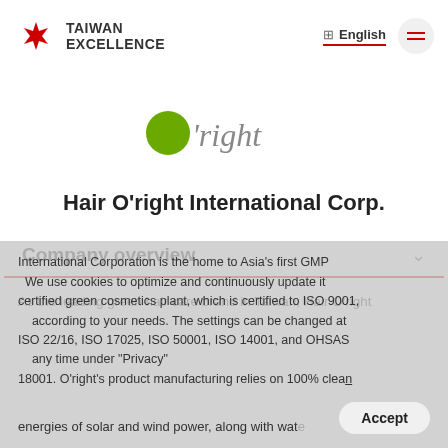TAIWAN EXCELLENCE | English
[Figure (logo): O'right brand logo with green circle and handwritten-style text]
Hair O'right International Corp.
Company overview
As the leading green hair care brand in Taiwan, Hair O'right International Corporation is the home to Asia's first GMP certified green cosmetics plant, which is certified to ISO 9001, ISO 22716, ISO 17025, ISO 50001, ISO 14001, and OHSAS 18001. O'right's product manufacturing relies on 100% clean energies of solar and wind power, along with water...
We use cookies to optimize and continuously update it according to your needs. The settings can be changed at any time under "Privacy"
Accept